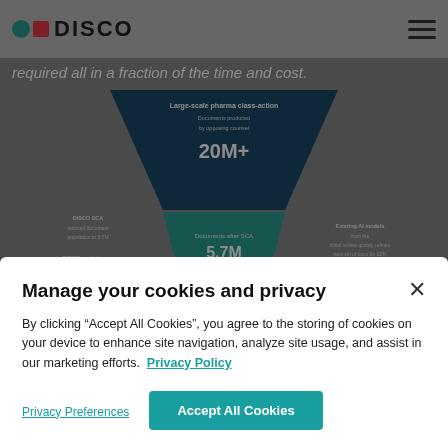DISCO
required all in a fraction of the time and cost.
[Figure (infographic): Inverted funnel diagram showing large-scale pharma class-action document review. Top level: 20M+ documents produced by opposing counsel. Middle level: 5.7M documents after DISCO SCA reduced document population to 5.7M. Lower level: 484,160 responsive documents after DISCO analytics certified 484k potentially responsive documents. Right side shows: Existing AI models from the initial review quickly refined new set of docs by 62%, resulting in 79k.]
Manage your cookies and privacy
By clicking “Accept All Cookies”, you agree to the storing of cookies on your device to enhance site navigation, analyze site usage, and assist in our marketing efforts.  Privacy Policy
Privacy Preferences
Accept All Cookies